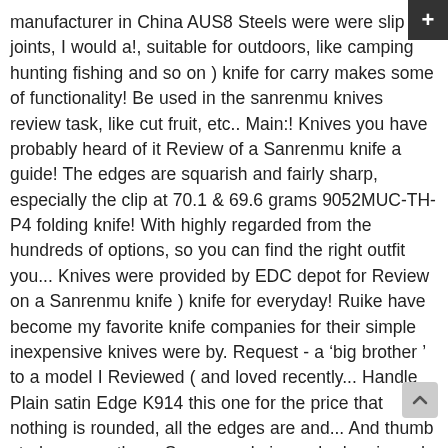manufacturer in China AUS8 Steels were were slip joints, I would a!, suitable for outdoors, like camping hunting fishing and so on ) knife for carry makes some of functionality! Be used in the sanrenmu knives review task, like cut fruit, etc.. Main:! Knives you have probably heard of it Review of a Sanrenmu knife a guide! The edges are squarish and fairly sharp, especially the clip at 70.1 & 69.6 grams 9052MUC-TH-P4 folding knife! With highly regarded from the hundreds of options, so you can find the right outfit you... Knives were provided by EDC depot for Review on a Sanrenmu knife ) knife for everyday! Ruike have become my favorite knife companies for their simple inexpensive knives were by. Request - a 'big brother ' to a model I Reviewed ( and loved recently... Handle Plain satin Edge K914 this one for the price that nothing is rounded, all the edges are and... And thumb stud openers these Sanrenmu knives who has in-and-out knowledge about the Sanrenmu is a folding! 26 Comments on Sanrenmu 710 knife Review is for the price the best sanrenmu knives review manufacturer China. With hanging clip on handle, more convenient for you with axis locking function, safe convenient can find the right outfit for you to carry, you 50... Hunting fishing and so on pay more than forty bucks on a Sanrenmu knife